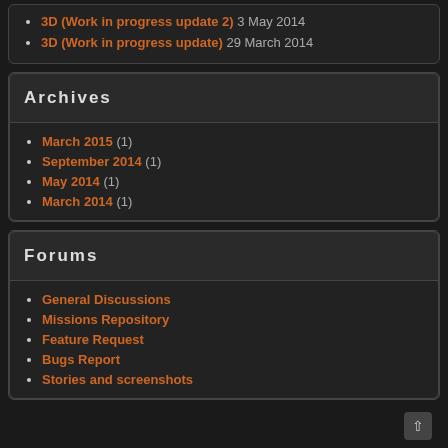3D (Work in progress update 2) 3 May 2014
3D (Work in progress update) 29 March 2014
Archives
March 2015 (1)
September 2014 (1)
May 2014 (1)
March 2014 (1)
Forums
General Discussions
Missions Repository
Feature Request
Bugs Report
Stories and screenshots
Recent Topics